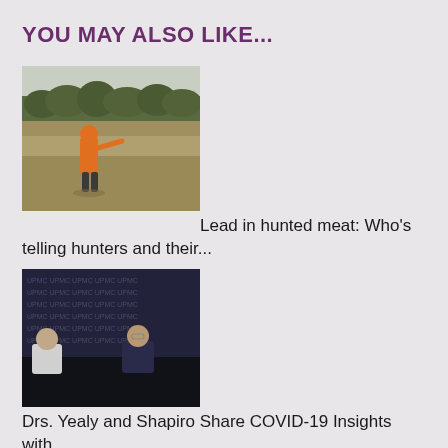YOU MAY ALSO LIKE...
[Figure (photo): A hunter wearing orange vest pointing across a marsh/field landscape with trees in the background]
Lead in hunted meat: Who's telling hunters and their...
[Figure (photo): Two men seated at a table at a UPMC press conference with UPMC branded backdrop]
Drs. Yealy and Shapiro Share COVID-19 Insights with